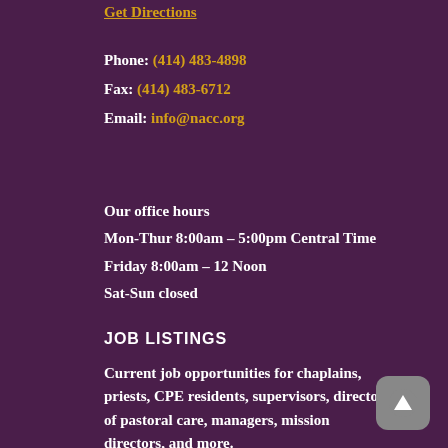Get Directions
Phone: (414) 483-4898
Fax: (414) 483-6712
Email: info@nacc.org
Our office hours
Mon-Thur 8:00am – 5:00pm Central Time
Friday 8:00am – 12 Noon
Sat-Sun closed
JOB LISTINGS
Current job opportunities for chaplains, priests, CPE residents, supervisors, directors of pastoral care, managers, mission directors, and more.